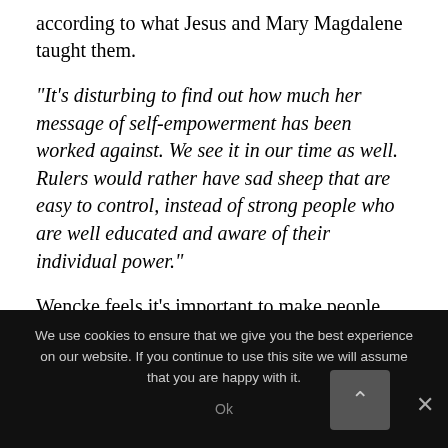according to what Jesus and Mary Magdalene taught them.
“It’s disturbing to find out how much her message of self-empowerment has been worked against. We see it in our time as well. Rulers would rather have sad sheep that are easy to control, instead of strong people who are well educated and aware of their individual power.”
Wencke feels it’s important to make people aware
We use cookies to ensure that we give you the best experience on our website. If you continue to use this site we will assume that you are happy with it.
Ok